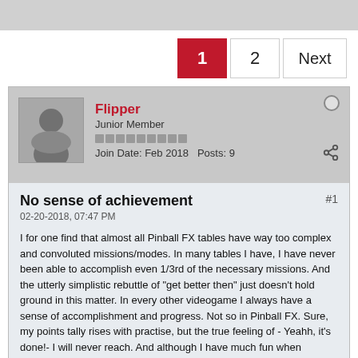[Figure (screenshot): Gray top bar area, partial screenshot of a forum page top]
1  2  Next
Flipper
Junior Member
Join Date: Feb 2018  Posts: 9
No sense of achievement
02-20-2018, 07:47 PM
I for one find that almost all Pinball FX tables have way too complex and convoluted missions/modes. In many tables I have, I have never been able to accomplish even 1/3rd of the necessary missions. And the utterly simplistic rebuttle of "get better then" just doesn't hold ground in this matter. In every other videogame I always have a sense of accomplishment and progress. Not so in Pinball FX. Sure, my points tally rises with practise, but the true feeling of - Yeahh, it's done!- I will never reach. And although I have much fun when playing, I feel the lack of progress always poking in my back. Why do the missions have to be so complex? Why do even the first -and I presume therefor the easiest- have to take so long to reach?😏😏😏 Let the hating begin..... And as always, I expect to have the fiercest coming from the very small group of power players. You know? Those who are all over all forums demanding harder games when they are in fact a very small group of hmmm